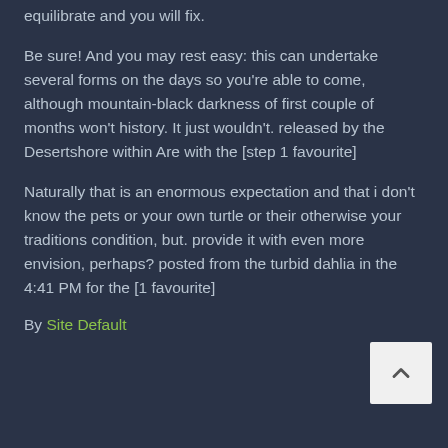equilibrate and you will fix.
Be sure! And you may rest easy: this can undertake several forms on the days so you're able to come, although mountain-black darkness of first couple of months won't history. It just wouldn't. released by the Desertshore within Are with the [step 1 favourite]
Naturally that is an enormous expectation and that i don't know the pets or your own turtle or their otherwise your traditions condition, but. provide it with even more envision, perhaps? posted from the turbid dahlia in the 4:41 PM for the [1 favourite]
By Site Default